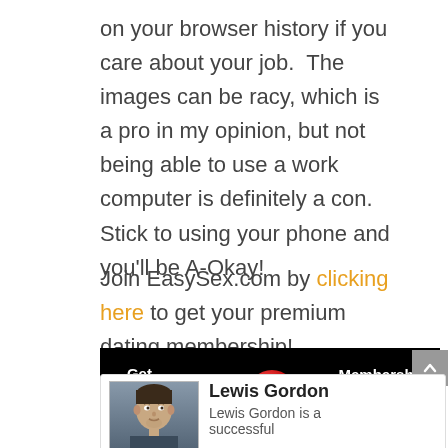on your browser history if you care about your job.  The images can be racy, which is a pro in my opinion, but not being able to use a work computer is definitely a con.  Stick to using your phone and you'll be A-Okay!
Join EasySex.com by clicking here to get your premium dating membership!
[Figure (other): EasySex.com advertisement banner: black background with 'Get Your Official' on left, EASY[red ball sex].com logo in center, 'Membership CLICK HERE' on right in red]
[Figure (photo): Author photo of Lewis Gordon, a man with dark hair]
Lewis Gordon
Lewis Gordon is a successful